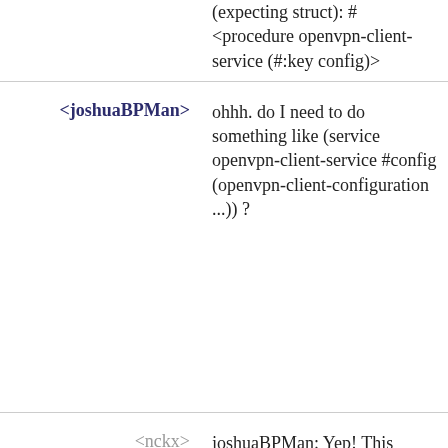(expecting struct): #<procedure openvpn-client-service (#:key config)>
<joshuaBPMan>
ohhh. do I need to do something like (service openvpn-client-service #config (openvpn-client-configuration ...))?
<nckx>
joshuaBPMan: Yep! This service hasn't adopted the service-type convention, it seems.
<joshuaBPMan>
nckx: thanks! It is